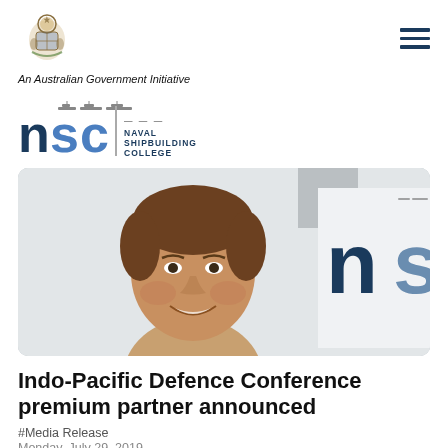[Figure (logo): Australian Government coat of arms emblem above text 'An Australian Government Initiative']
An Australian Government Initiative
[Figure (logo): NSC Naval Shipbuilding College logo with ship silhouettes]
[Figure (photo): A smiling man in front of an NSC Naval Shipbuilding College banner/sign]
Indo-Pacific Defence Conference premium partner announced
#Media Release
Monday, July 29, 2019